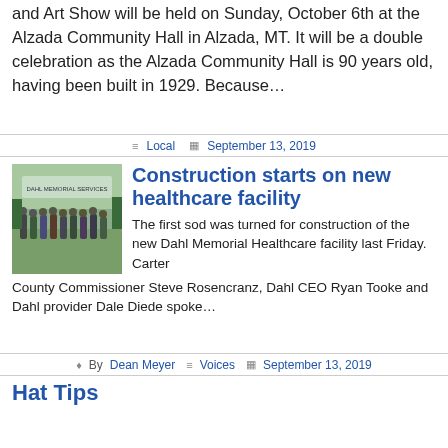and Art Show will be held on Sunday, October 6th at the Alzada Community Hall in Alzada, MT. It will be a double celebration as the Alzada Community Hall is 90 years old, having been built in 1929. Because…
Local  September 13, 2019
Construction starts on new healthcare facility
The first sod was turned for construction of the new Dahl Memorial Healthcare facility last Friday. Carter County Commissioner Steve Rosencranz, Dahl CEO Ryan Tooke and Dahl provider Dale Diede spoke…
By Dean Meyer  Voices  September 13, 2019
Hat Tips